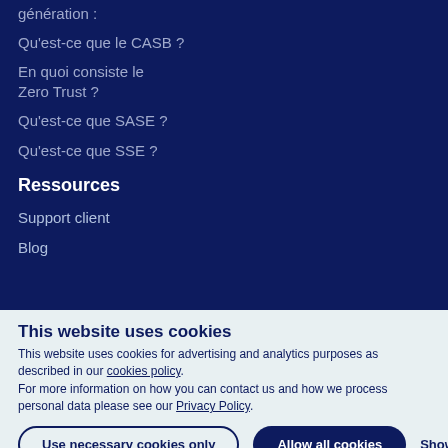génération :
Qu'est-ce que le CASB ?
En quoi consiste le Zero Trust ?
Qu'est-ce que SASE ?
Qu'est-ce que SSE ?
Ressources
Support client
Blog
This website uses cookies
This website uses cookies for advertising and analytics purposes as described in our cookies policy.
For more information on how you can contact us and how we process personal data please see our Privacy Policy.
Use necessary cookies only
Allow all cookies
Show details